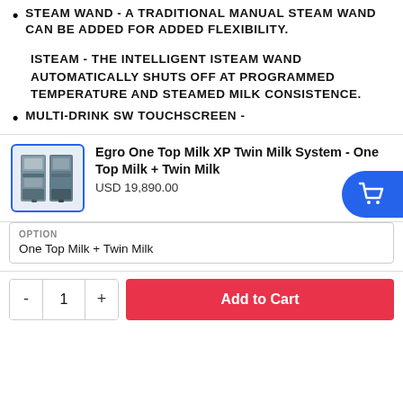STEAM WAND - A TRADITIONAL MANUAL STEAM WAND CAN BE ADDED FOR ADDED FLEXIBILITY.
ISTEAM - THE INTELLIGENT ISTEAM WAND AUTOMATICALLY SHUTS OFF AT PROGRAMMED TEMPERATURE AND STEAMED MILK CONSISTENCE.
MULTI-DRINK SW TOUCHSCREEN -
[Figure (photo): Product image of Egro One Top Milk XP Twin Milk System coffee machine, shown in a blue-bordered thumbnail]
Egro One Top Milk XP Twin Milk System - One Top Milk + Twin Milk
USD 19,890.00
OPTION
One Top Milk + Twin Milk
- 1 + Add to Cart